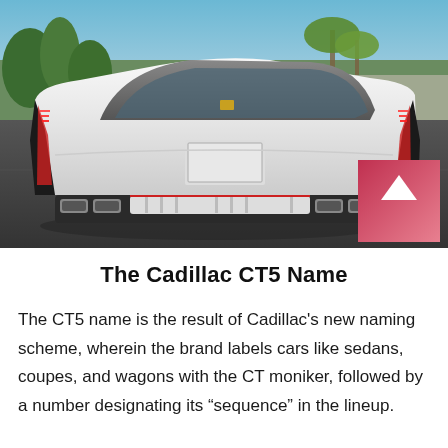[Figure (photo): Rear three-quarter view of a white Cadillac CT5 sedan parked in a parking lot, with palm trees and a street visible in the background. The car features distinctive quad exhaust tips, a diffuser, and LED taillights.]
The Cadillac CT5 Name
The CT5 name is the result of Cadillac's new naming scheme, wherein the brand labels cars like sedans, coupes, and wagons with the CT moniker, followed by a number designating its “sequence” in the lineup.